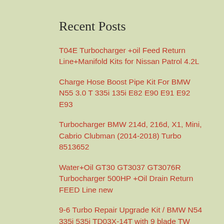Recent Posts
T04E Turbocharger +oil Feed Return Line+Manifold Kits for Nissan Patrol 4.2L
Charge Hose Boost Pipe Kit For BMW N55 3.0 T 335i 135i E82 E90 E91 E92 E93
Turbocharger BMW 214d, 216d, X1, Mini, Cabrio Clubman (2014-2018) Turbo 8513652
Water+Oil GT30 GT3037 GT3076R Turbocharger 500HP +Oil Drain Return FEED Line new
9-6 Turbo Repair Upgrade Kit / BMW N54 335i 535i TD03X-14T with 9 blade TW